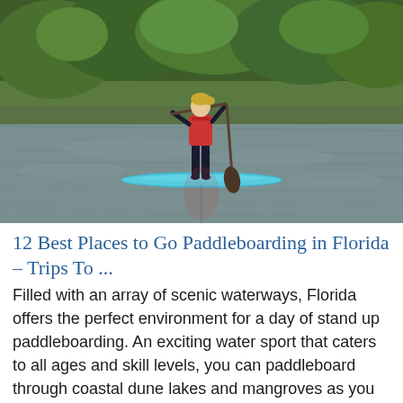[Figure (photo): A person standing on a paddleboard on a calm river or lake, holding a paddle, wearing a red life vest and dark wetsuit. Green trees line the background. The water reflects the scene.]
12 Best Places to Go Paddleboarding in Florida – Trips To ...
Filled with an array of scenic waterways, Florida offers the perfect environment for a day of stand up paddleboarding. An exciting water sport that caters to all ages and skill levels, you can paddleboard through coastal dune lakes and mangroves as you get a full body workout, admire native wildlife or go